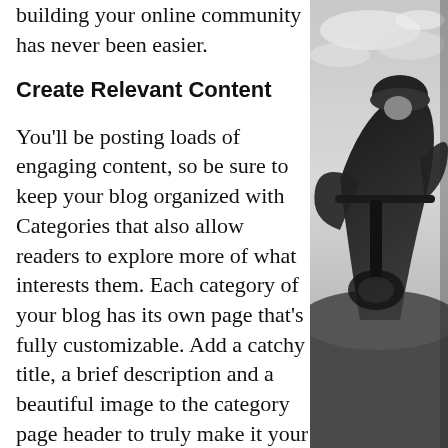building your online community has never been easier.
Create Relevant Content
You'll be posting loads of engaging content, so be sure to keep your blog organized with Categories that also allow readers to explore more of what interests them. Each category of your blog has its own page that's fully customizable. Add a catchy title, a brief description and a beautiful image to the category page header to truly make it your own. You can also add tags (#vacation #dream #summer) throughout your posts to reach more people, and help readers search for relevant content. Using hashtags can
[Figure (photo): Black and white photo of a child in a helmet riding a scooter or bike, viewed from a low angle against a cloudy sky.]